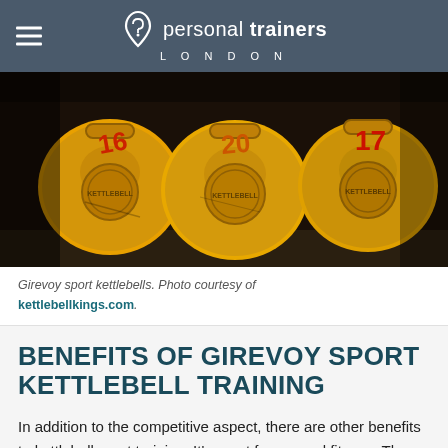personal trainers LONDON
[Figure (photo): Row of yellow Girevoy sport kettlebells with numbers, worn and used, stored on a shelf]
Girevoy sport kettlebells. Photo courtesy of kettlebelkings.com.
BENEFITS OF GIREVOY SPORT KETTLEBELL TRAINING
In addition to the competitive aspect, there are other benefits to kettlebell sport training. It's great for general fitness. The aerobic and metabolic conditioning needed to